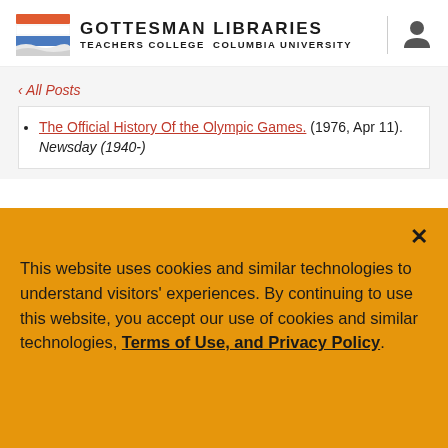GOTTESMAN LIBRARIES TEACHERS COLLEGE COLUMBIA UNIVERSITY
The Official History Of the Olympic Games. (1976, Apr 11). Newsday (1940-)
This website uses cookies and similar technologies to understand visitors' experiences. By continuing to use this website, you accept our use of cookies and similar technologies, Terms of Use, and Privacy Policy.